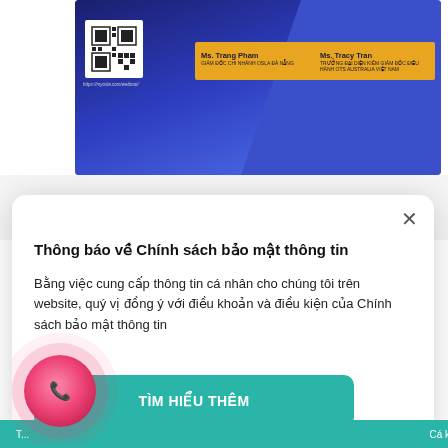[Figure (screenshot): Webinar banner with two speakers: Ms. Trang Pham (Giám đốc chi nhánh OSLA Đà Nẵng) and Ms. Tracy Tran (Trưởng đại diện kiêm Giám đốc điều hành OTS Australia Việt Nam), with QR code and orange name bar on blue gradient background]
Thông báo về Chính sách bảo mật thông tin
Bằng việc cung cấp thông tin cá nhân cho chúng tôi trên website, quý vị đồng ý với điều khoản và điều kiện của Chính sách bảo mật thông tin
TÌM HIỂU THÊM